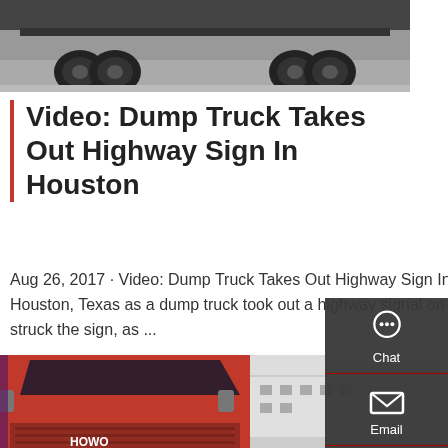[Figure (photo): Close-up photo of truck undercarriage and wheels from below, gray tones]
Video: Dump Truck Takes Out Highway Sign In Houston
Aug 26, 2017 · Video: Dump Truck Takes Out Highway Sign In Houston There was an incredible videotape taken in Houston, Texas as a dump truck took out a highway signal on Interstate 610. The truck was moving with a raised bed and struck the sign, as ...
[Figure (other): Red button labeled Get a Quote]
[Figure (photo): Red HOWO truck cab parked at a facility, front view]